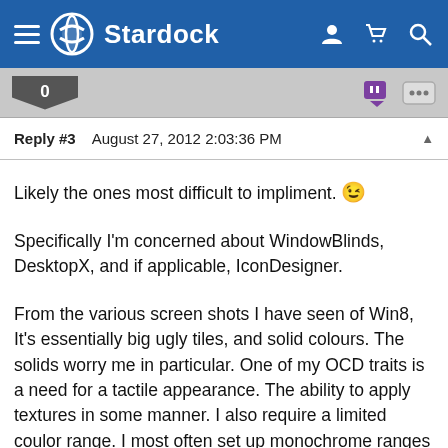Stardock
0
Reply #3   August 27, 2012 2:03:36 PM
Likely the ones most difficult to impliment. 😉
Specifically I'm concerned about WindowBlinds, DesktopX, and if applicable, IconDesigner.
From the various screen shots I have seen of Win8, It's essentially big ugly tiles, and solid colours. The solids worry me in particular. One of my OCD traits is a need for a tactile appearance. The ability to apply textures in some manner. I also require a limited coulor range. I most often set up monochrome ranges that utilize the full possiblities